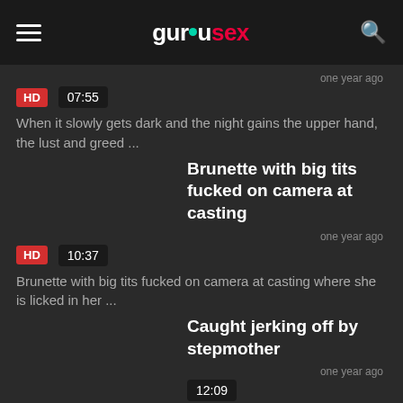gurusex
one year ago
HD  07:55
When it slowly gets dark and the night gains the upper hand, the lust and greed ...
Brunette with big tits fucked on camera at casting
one year ago
HD  10:37
Brunette with big tits fucked on camera at casting where she is licked in her ...
Caught jerking off by stepmother
one year ago
12:09
The dark-haired stepmother catches him massaging his cock. And the MILF has to...